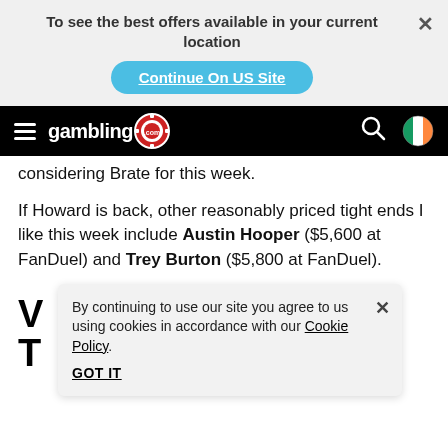To see the best offers available in your current location
Continue On US Site
[Figure (logo): gambling.com logo with poker chip]
considering Brate for this week.
If Howard is back, other reasonably priced tight ends I like this week include Austin Hooper ($5,600 at FanDuel) and Trey Burton ($5,800 at FanDuel).
V
By continuing to use our site you agree to us using cookies in accordance with our Cookie Policy.
GOT IT
T FanDuel